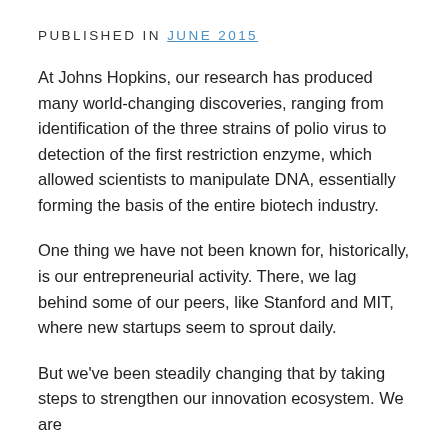PUBLISHED IN JUNE 2015
At Johns Hopkins, our research has produced many world-changing discoveries, ranging from identification of the three strains of polio virus to detection of the first restriction enzyme, which allowed scientists to manipulate DNA, essentially forming the basis of the entire biotech industry.
One thing we have not been known for, historically, is our entrepreneurial activity. There, we lag behind some of our peers, like Stanford and MIT, where new startups seem to sprout daily.
But we've been steadily changing that by taking steps to strengthen our innovation ecosystem. We are